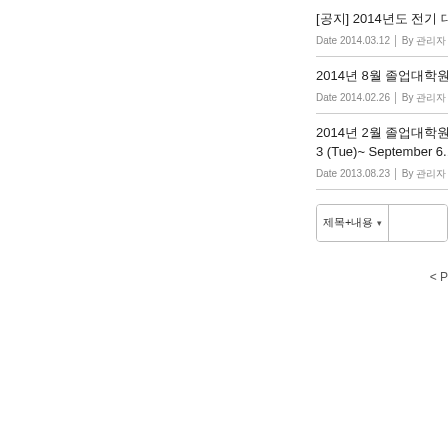[공지] 2014년도 전기 대학원 입학전형 안내
2014년 8월 졸업대학원 입학전형 안내
2014년 2월 졸업대학원 입학전형 안내 3 (Tue)~ September 6
제목+내용 ▾ [search input]
< P